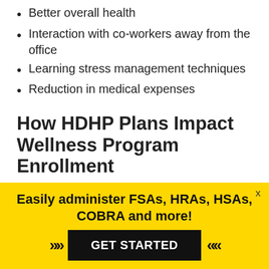Better overall health
Interaction with co-workers away from the office
Learning stress management techniques
Reduction in medical expenses
How HDHP Plans Impact Wellness Program Enrollment
Because employees pay higher deductibles with HDHP health insurance, they learn about the
Easily administer FSAs, HRAs, HSAs, COBRA and more!
GET STARTED